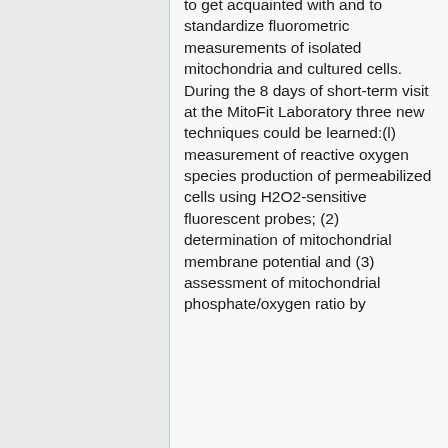to get acquainted with and to standardize fluorometric measurements of isolated mitochondria and cultured cells. During the 8 days of short-term visit at the MitoFit Laboratory three new techniques could be learned:(l) measurement of reactive oxygen species production of permeabilized cells using H2O2-sensitive fluorescent probes; (2) determination of mitochondrial membrane potential and (3) assessment of mitochondrial phosphate/oxygen ratio by